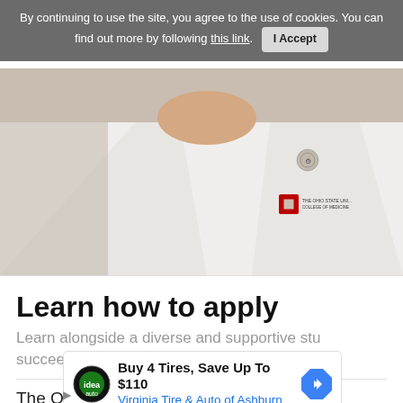By continuing to use the site, you agree to the use of cookies. You can find out more by following this link. I Accept
[Figure (photo): Person wearing a white medical coat with The Ohio State University College of Medicine logo/badge on the chest, partial view showing torso and collar area, against a beige/neutral wall background.]
Learn how to apply
Learn alongside a diverse and supportive stu succeed
The Ohio State University
[Figure (infographic): Advertisement: Buy 4 Tires, Save Up To $110 - Virginia Tire & Auto of Ashburn. Shows a circular green/black logo and a blue diamond arrow icon.]